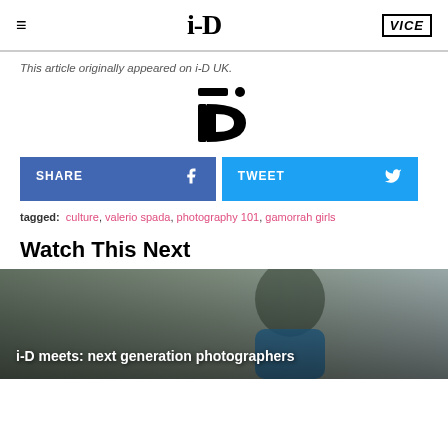i-D | VICE
This article originally appeared on i-D UK.
[Figure (logo): i-D magazine winking face logo icon]
SHARE | TWEET
tagged: culture, valerio spada, photography 101, gamorrah girls
Watch This Next
[Figure (photo): Photo of a young person looking down, with text overlay reading 'i-D meets: next generation photographers']